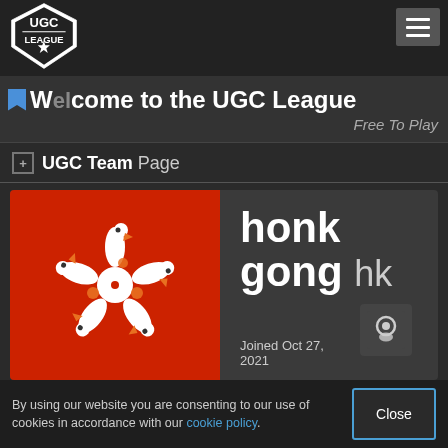[Figure (logo): UGC League shield logo with star]
Welcome to the UGC League
Free To Play
UGC Team Page
[Figure (illustration): Team logo: red background with white stylized running bird/goose figure with orange accents]
honk gong hk
Joined Oct 27, 2021
By using our website you are consenting to our use of cookies in accordance with our cookie policy.